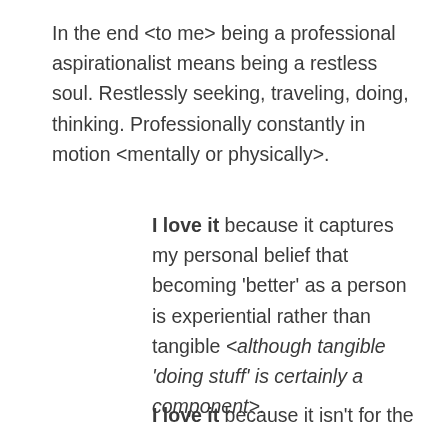In the end <to me> being a professional aspirationalist means being a restless soul. Restlessly seeking, traveling, doing, thinking. Professionally constantly in motion <mentally or physically>.
I love it because it captures my personal belief that becoming 'better' as a person is experiential rather than tangible <although tangible 'doing stuff' is certainly a component>.
I love it because it isn't for the